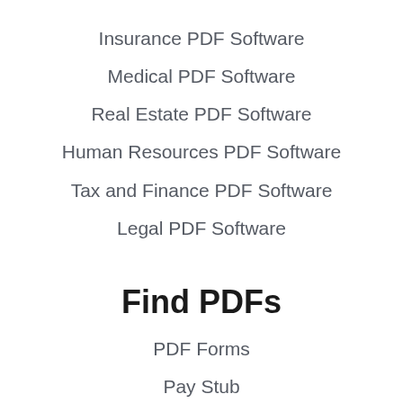Insurance PDF Software
Medical PDF Software
Real Estate PDF Software
Human Resources PDF Software
Tax and Finance PDF Software
Legal PDF Software
Find PDFs
PDF Forms
Pay Stub